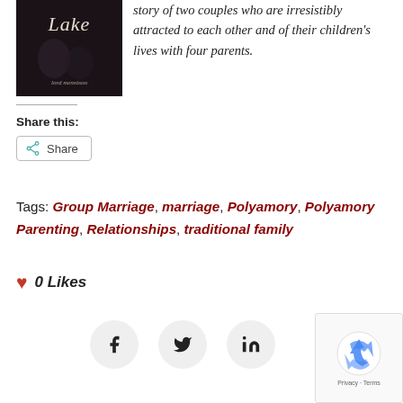[Figure (illustration): Book cover for a novel showing the title 'Lake' and author name 'Lord Mennison', dark moody background with intertwined figures]
story of two couples who are irresistibly attracted to each other and of their children's lives with four parents.
Share this:
Share
Tags: Group Marriage, marriage, Polyamory, Polyamory Parenting, Relationships, traditional family
0 Likes
[Figure (other): Social share icons: Facebook, Twitter, LinkedIn]
[Figure (other): reCAPTCHA widget with recycling logo and Privacy - Terms text]